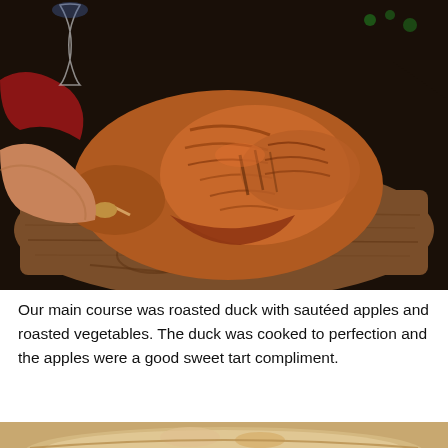[Figure (photo): A whole roasted duck on a wooden cutting board. A person's hands are visible holding the duck. There is a wine glass and holiday decorations visible in the background.]
Our main course was roasted duck with sautéed apples and roasted vegetables. The duck was cooked to perfection and the apples were a good sweet tart compliment.
[Figure (photo): Partial view of another dish, showing a light-colored bowl or plate with food, cropped at the bottom of the page.]